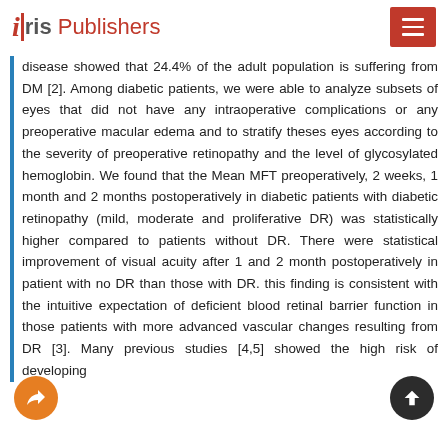iris Publishers
disease showed that 24.4% of the adult population is suffering from DM [2]. Among diabetic patients, we were able to analyze subsets of eyes that did not have any intraoperative complications or any preoperative macular edema and to stratify theses eyes according to the severity of preoperative retinopathy and the level of glycosylated hemoglobin. We found that the Mean MFT preoperatively, 2 weeks, 1 month and 2 months postoperatively in diabetic patients with diabetic retinopathy (mild, moderate and proliferative DR) was statistically higher compared to patients without DR. There were statistical improvement of visual acuity after 1 and 2 month postoperatively in patient with no DR than those with DR. this finding is consistent with the intuitive expectation of deficient blood retinal barrier function in those patients with more advanced vascular changes resulting from DR [3]. Many previous studies [4,5] showed the high risk of developing